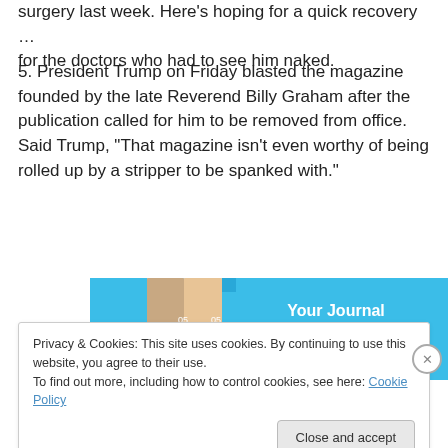surgery last week. Here's hoping for a quick recovery … for the doctors who had to see him naked.
5. President Trump on Friday blasted the magazine founded by the late Reverend Billy Graham after the publication called for him to be removed from office. Said Trump, “That magazine isn’t even worthy of being rolled up by a stripper to be spanked with.”
[Figure (screenshot): Advertisement image showing a mobile app with blue background and text 'Your Journal for life' with photo grid collage]
Privacy & Cookies: This site uses cookies. By continuing to use this website, you agree to their use.
To find out more, including how to control cookies, see here: Cookie Policy